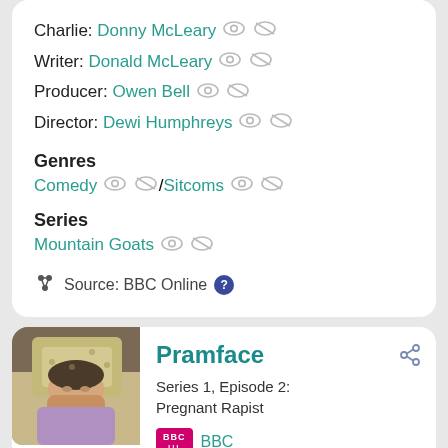Charlie: Donny McLeary
Writer: Donald McLeary
Producer: Owen Bell
Director: Dewi Humphreys
Genres
Comedy / Sitcoms
Series
Mountain Goats
Source: BBC Online
[Figure (photo): A man lying on a bed looking tired or bored, with patterned pillows around him]
Pramface
Series 1, Episode 2: Pregnant Rapist
BBC